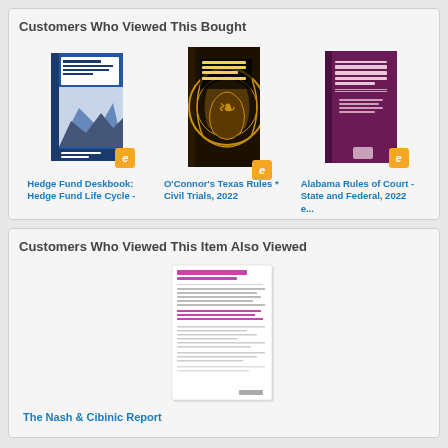Customers Who Viewed This Bought
[Figure (illustration): Book cover: Hedge Fund Deskbook - blue and white cover]
[Figure (illustration): Book cover: O'Connor's Texas Rules * Civil Trials, 2022 - dark ornate cover]
[Figure (illustration): Book cover: Alabama Rules of Court - State and Federal, 2022 e... - maroon cover]
Hedge Fund Deskbook: Hedge Fund Life Cycle -
O'Connor's Texas Rules * Civil Trials, 2022
Alabama Rules of Court - State and Federal, 2022 e...
Customers Who Viewed This Item Also Viewed
[Figure (illustration): Document/report cover: The Nash & Cibinic Report - white document with purple/pink text]
The Nash & Cibinic Report